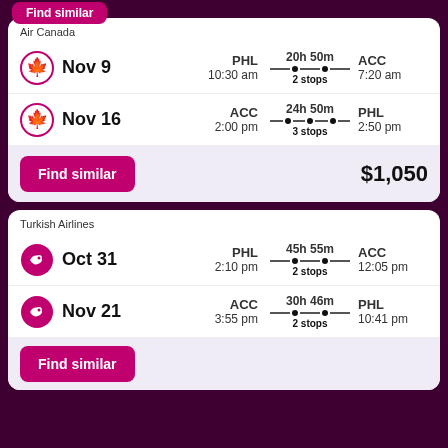Air Canada
Nov 9 | PHL 10:30 am | 20h 50m 2 stops | ACC 7:20 am
Nov 16 | ACC 2:00 pm | 24h 50m 3 stops | PHL 2:50 pm
Find similar — $1,050
Turkish Airlines
Oct 31 | PHL 2:10 pm | 45h 55m 2 stops | ACC 12:05 pm
Nov 21 | ACC 3:55 pm | 30h 46m 2 stops | PHL 10:41 pm